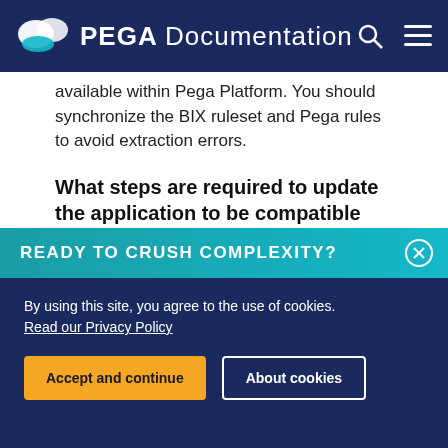PEGA Documentation
available within Pega Platform. You should synchronize the BIX ruleset and Pega rules to avoid extraction errors.
What steps are required to update the application to be compatible with this change?
After the upgrade is complete, change the ruleset version for Pega Platform and BIX to use the same, latest version.
READY TO CRUSH COMPLEXITY?
By using this site, you agree to the use of cookies. Read our Privacy Policy
Accept and continue  About cookies